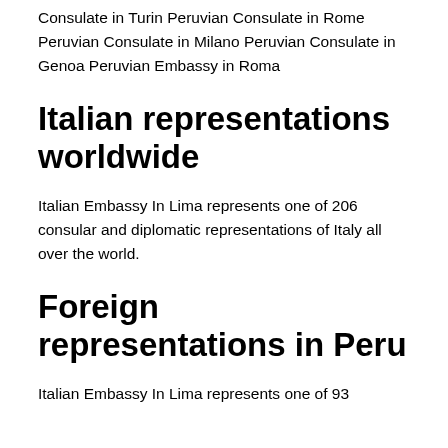Consulate in Turin Peruvian Consulate in Rome Peruvian Consulate in Milano Peruvian Consulate in Genoa Peruvian Embassy in Roma
Italian representations worldwide
Italian Embassy In Lima represents one of 206 consular and diplomatic representations of Italy all over the world.
Foreign representations in Peru
Italian Embassy In Lima represents one of 93